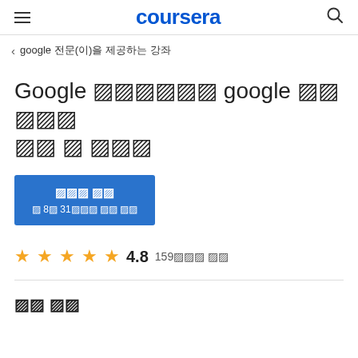coursera
< google 전문(이)을 제공하는 강좌
Google 데이터애널리틱스 google 전문 데이터 분석 및 시각화
무료로 등록 / 8월 31일에 마감 및 시작
★★★★★ 4.8  159개의 리뷰
강의 개요